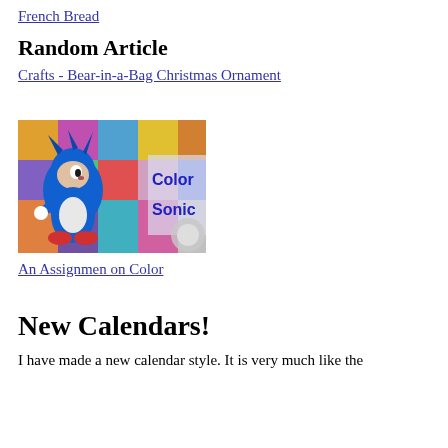French Bread
Random Article
Crafts - Bear-in-a-Bag Christmas Ornament
[Figure (illustration): Colorful illustration featuring Sonic the Hedgehog character with text 'Color Sonic' on a decorative background]
An Assignmen on Color
New Calendars!
I have made a new calendar style. It is very much like the